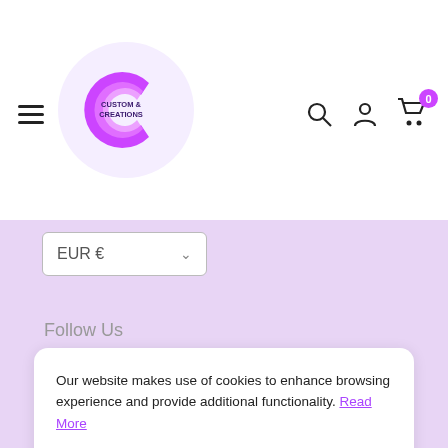[Figure (logo): Custom Creations logo — purple C letter with 'CUSTOM CREATIONS' text inside a light purple circle]
EUR € ∨
Follow Us
[Figure (illustration): Social media icons: Facebook, Instagram, TikTok — circular grey buttons]
We Accept
Our website makes use of cookies to enhance browsing experience and provide additional functionality. Read More
Accept